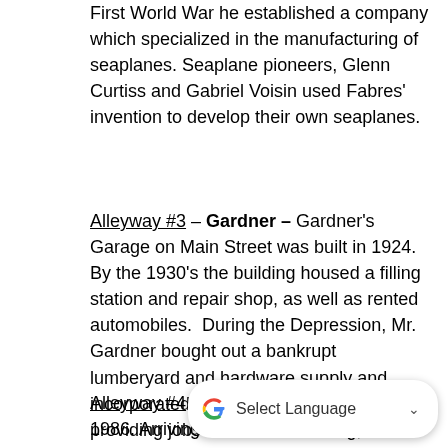First World War he established a company which specialized in the manufacturing of seaplanes. Seaplane pioneers, Glenn Curtiss and Gabriel Voisin used Fabres' invention to develop their own seaplanes.
Alleyway #3 – Gardner – Gardner's Garage on Main Street was built in 1924. By the 1930's the building housed a filling station and repair shop, as well as rented automobiles. During the Depression, Mr. Gardner bought out a bankrupt lumberyard and hardware supply and incorporated the whole business, providing jobs. Gardner's building, which still stands today, housed other business through the years including a jewelry store, two grocery stores, a clothing store, fabric shop and the more famous Tavares Hardware.
Alleyway #4 – Blanche Sperry – 1894-1986. Arriving in Tavares in 1926, she was Tavares' lunchroom manager for over 40 years, and was